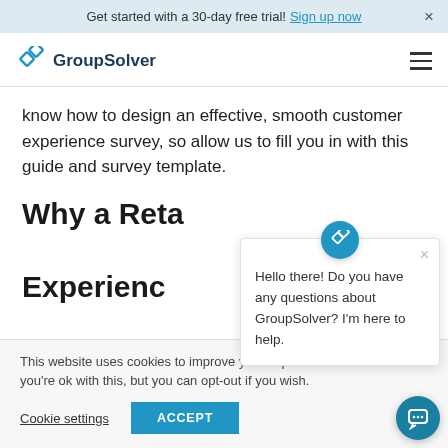Get started with a 30-day free trial! Sign up now  ×
[Figure (logo): GroupSolver logo with blue rhombus icon and text 'GroupSolver']
know how to design an effective, smooth customer experience survey, so allow us to fill you in with this guide and survey template.
Why a Reta… Experience…
This website uses cook… experience. We'll assume you're ok with this, but you can opt-out if you wish.
Hello there! Do you have any questions about GroupSolver? I'm here to help.
Cookie settings   ACCEPT